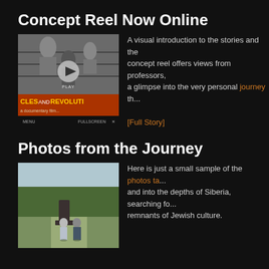Concept Reel Now Online
[Figure (screenshot): Video player thumbnail showing documentary film 'Uncles and Revolution' with black and white historical photo of people behind barbed wire fence, play button overlay, orange/red lower portion with yellow title text, and video controls bar at bottom]
A visual introduction to the stories and the concept reel offers views from professors, a glimpse into the very personal journey th... [Full Story]
Photos from the Journey
[Figure (photo): Two men standing near a large dark stone monument or memorial in an outdoor park-like setting with trees in the background]
Here is just a small sample of the photos ta... and into the depths of Siberia, searching fo... remnants of Jewish culture.